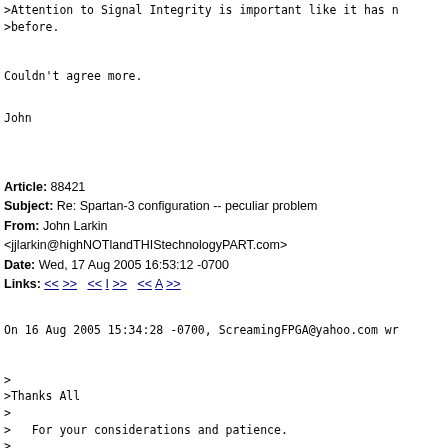>Attention to Signal Integrity is important like it has n
>before.
Couldn't agree more.
John
Article: 88421
Subject: Re: Spartan-3 configuration -- peculiar problem
From: John Larkin <jjlarkin@highNOTlandTHIStechnologyPART.com>
Date: Wed, 17 Aug 2005 16:53:12 -0700
Links: << >>   << I >>   << A >>
On 16 Aug 2005 15:34:28 -0700, ScreamingFPGA@yahoo.com wr
>
>Thanks All
>
>   For your considerations and patience.
>
>   Problem solved. Mea Culpa. IIFI. A comedy of errors:
>
>   Configuration worked perfectly from the get-go. I was
>there was a config problem because my little 'hello wor
>BLINKY_THINGY that I had dropped into the top level t